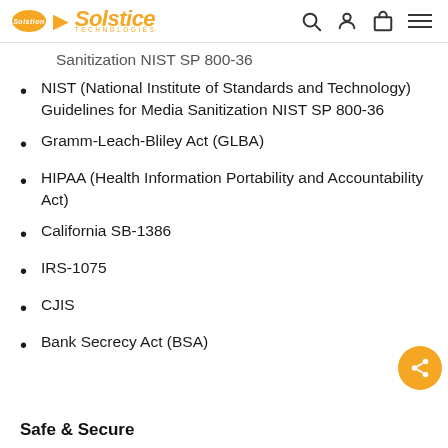Solstice Technologies — navigation header
Sanitization NIST SP 800-36 (partial, top-clipped)
NIST (National Institute of Standards and Technology) Guidelines for Media Sanitization NIST SP 800-36
Gramm-Leach-Bliley Act (GLBA)
HIPAA (Health Information Portability and Accountability Act)
California SB-1386
IRS-1075
CJIS
Bank Secrecy Act (BSA)
Safe & Secure